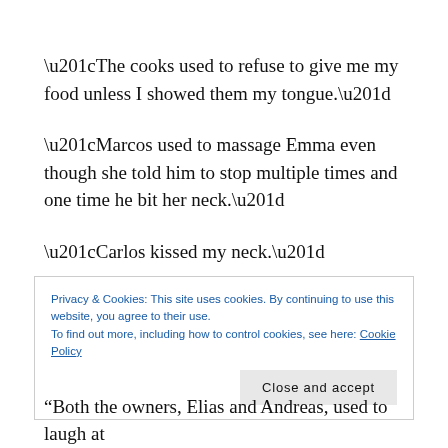“The cooks used to refuse to give me my food unless I showed them my tongue.”
“Marcos used to massage Emma even though she told him to stop multiple times and one time he bit her neck.”
“Carlos kissed my neck.”
Privacy & Cookies: This site uses cookies. By continuing to use this website, you agree to their use.
To find out more, including how to control cookies, see here: Cookie Policy
“Both the owners, Elias and Andreas, used to laugh at